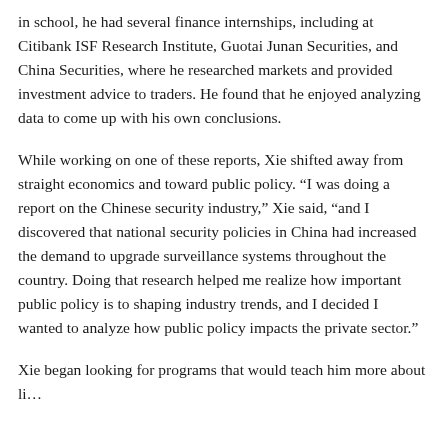in school, he had several finance internships, including at Citibank ISF Research Institute, Guotai Junan Securities, and China Securities, where he researched markets and provided investment advice to traders. He found that he enjoyed analyzing data to come up with his own conclusions.
While working on one of these reports, Xie shifted away from straight economics and toward public policy. “I was doing a report on the Chinese security industry,” Xie said, “and I discovered that national security policies in China had increased the demand to upgrade surveillance systems throughout the country. Doing that research helped me realize how important public policy is to shaping industry trends, and I decided I wanted to analyze how public policy impacts the private sector.”
Xie began looking for programs that would teach him more about li… … … MPP he joined…